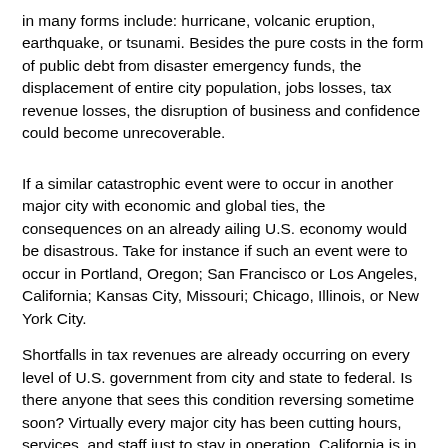in many forms include: hurricane, volcanic eruption, earthquake, or tsunami. Besides the pure costs in the form of public debt from disaster emergency funds, the displacement of entire city population, jobs losses, tax revenue losses, the disruption of business and confidence could become unrecoverable.
If a similar catastrophic event were to occur in another major city with economic and global ties, the consequences on an already ailing U.S. economy would be disastrous. Take for instance if such an event were to occur in Portland, Oregon; San Francisco or Los Angeles, California; Kansas City, Missouri; Chicago, Illinois, or New York City.
Shortfalls in tax revenues are already occurring on every level of U.S. government from city and state to federal. Is there anyone that sees this condition reversing sometime soon? Virtually every major city has been cutting hours, services, and staff just to stay in operation. California is in such dire straights that their bonds are nearly considered “junk”. Since California, by itself, is still one of the largest economies in the world, the [Go to top] ne would send the U.S. into an immediate depression